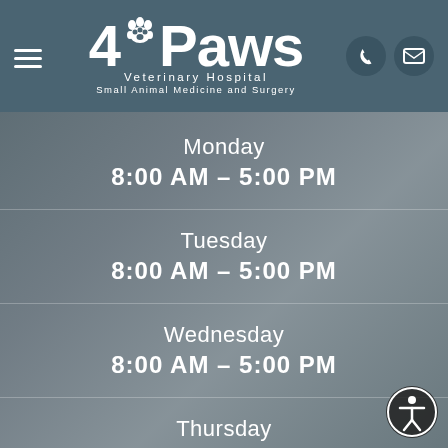[Figure (logo): 4Paws Veterinary Hospital logo with paw print icon, subtitle 'Small Animal Medicine and Surgery']
Monday
8:00 AM – 5:00 PM
Tuesday
8:00 AM – 5:00 PM
Wednesday
8:00 AM – 5:00 PM
Thursday
8:00 AM – 5:00 PM